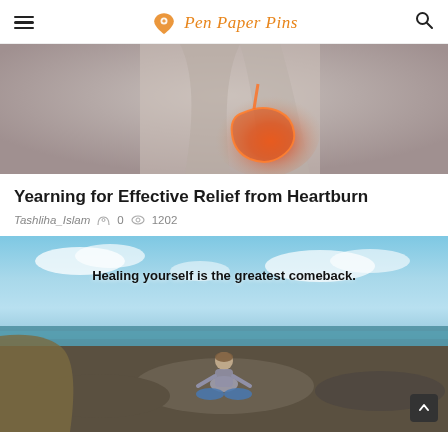Pen Paper Pins
[Figure (photo): Medical illustration of a person with a glowing stomach/digestive organ showing heartburn or acid reflux, with orange/red glow on the stomach area]
Yearning for Effective Relief from Heartburn
Tashliha_Islam  0  1202
[Figure (photo): Person sitting in meditation pose on a rocky beach with ocean in background and sky with clouds. Overlay text reads: Healing yourself is the greatest comeback.]